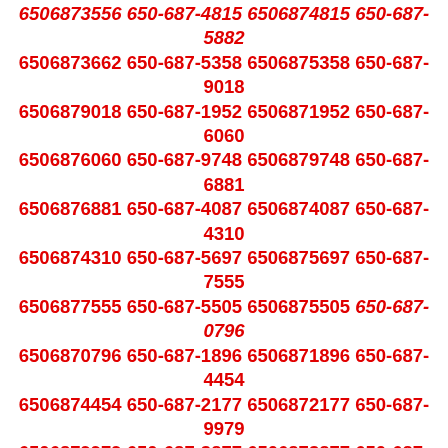6506873556 650-687-4815 6506874815 650-687-5882 6506873662 650-687-5358 6506875358 650-687-9018 6506879018 650-687-1952 6506871952 650-687-6060 6506876060 650-687-9748 6506879748 650-687-6881 6506876881 650-687-4087 6506874087 650-687-4310 6506874310 650-687-5697 6506875697 650-687-7555 6506877555 650-687-5505 6506875505 650-687-0796 6506870796 650-687-1896 6506871896 650-687-4454 6506874454 650-687-2177 6506872177 650-687-9979 6506879979 650-687-3877 6506873877 650-687-5491 6506875491 650-687-2084 6506872084 650-687-2531 6506872531 650-687-3331 6506873331 650-687-7210 6506877210 650-687-8137 6506878137 650-687-8719 6506878719 650-687-9765 6506879765 650-687-6130 6506876130 650-687-5843 6506875843 650-687-8645 6506878645 650-687-2478 6506872478 650-687-1358 6506871358 650-687-3471 6506873471 650-687-0248 6506870248 650-687-9035 6506879035 650-687-9369 6506879369 650-687-3167 6506873167 650-687-1564 6506871564 650-687-7774 6506877774 650-687-9276 6506879276 650-687-9850 6506879850 650-687-3901 6506873901 650-687-7234 6506877234 650-687-9326 6506879326 650-687-7053 6506877053 650-687-5348 6506875348 650-687-5111 6506875111 650-687-9094 6506879094 650-687-1334 6506871334 650-687-3611 6506873611 650-687-8897 6506878897 650-687-2787